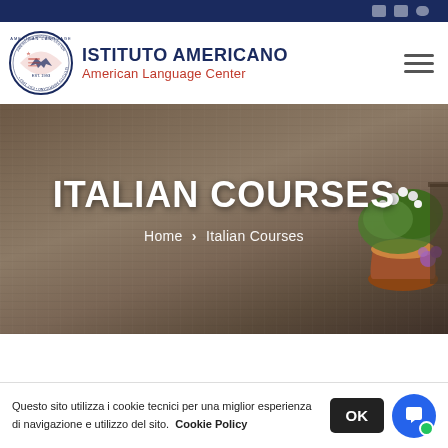[Figure (logo): Istituto Americano - American Language Center logo with circular emblem and text]
ITALIAN COURSES
Home > Italian Courses
Questo sito utilizza i cookie tecnici per una miglior esperienza di navigazione e utilizzo del sito. Cookie Policy OK